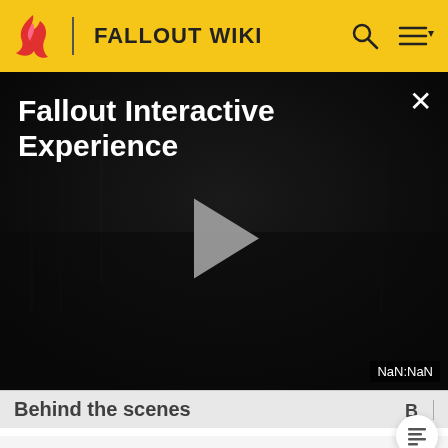FALLOUT WIKI
[Figure (screenshot): Fallout Interactive Experience video player with dark atmospheric background showing bare trees and fog, with a large play button in the center. Title reads 'Fallout Interactive Experience'. A close button (×) is in the top right. A 'NaN:NaN' timestamp label appears in the bottom right.]
Behind the scenes
The Eyebot resembles the Sputnik-era satellites, predominately the Sputnik 1, an artificial Earth satellite launched by the Soviet Union in 1957.